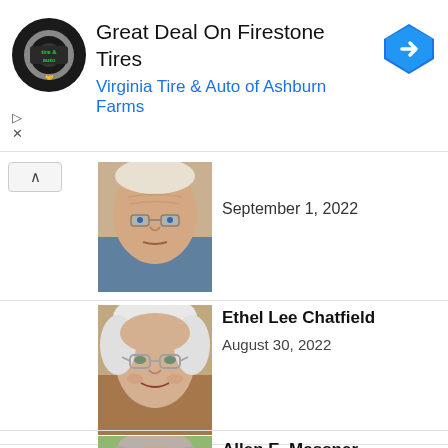[Figure (other): Advertisement banner for Virginia Tire & Auto of Ashburn Farms featuring Firestone Tires offer with circular logo and navigation arrow icon]
Great Deal On Firestone Tires
Virginia Tire & Auto of Ashburn Farms
[Figure (photo): Close-up photo of elderly man with white hair looking slightly to the side]
September 1, 2022
[Figure (photo): Photo of elderly woman with white hair and glasses smiling]
Ethel Lee Chatfield
August 30, 2022
[Figure (photo): Photo of elderly man with gray hair and glasses looking forward]
Allen E. Massner
August 26, 2022